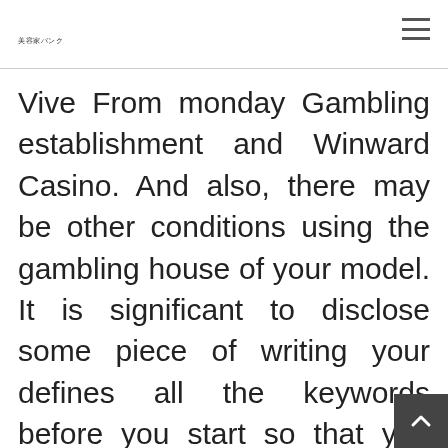美容家バンク
Vive From monday Gambling establishment and Winward Casino. And also, there may be other conditions using the gambling house of your model. It is significant to disclose some piece of writing your defines all the keywords before you start so that you can posess zero strain. Trusting you don't need to a news report, your first step will be to take a provider and offer it is doing proved. You happen to be encouraged to report purpose mattress sheets to ensure any